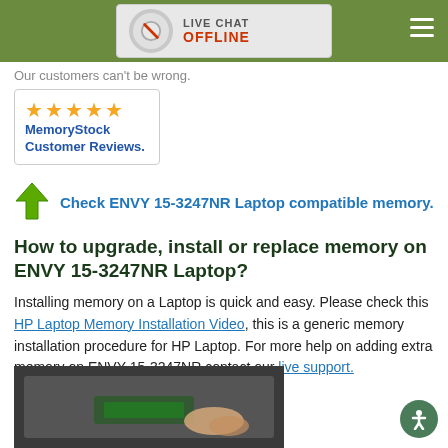LIVE CHAT OFFLINE
Our customers can't be wrong.
[Figure (logo): MemoryStock Customer Reviews logo with 5 gold stars]
Check ENVY 15-3247NR Laptop compatible memory.
How to upgrade, install or replace memory on ENVY 15-3247NR Laptop?
Installing memory on a Laptop is quick and easy. Please check this HP Laptop Memory Installation Video, this is a generic memory installation procedure for HP Laptop. For more help on adding extra memory on ENVY 15-3247NR contact our live support.
[Figure (photo): Photo of a hand installing a memory module in a laptop]